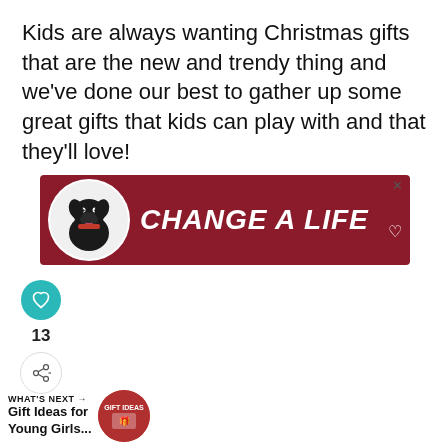Kids are always wanting Christmas gifts that are the new and trendy thing and we've done our best to gather up some great gifts that kids can play with and that they'll love!
[Figure (other): Advertisement banner with dark red background, a black Labrador dog in a white circle on the left, and bold white italic text reading 'CHANGE A LIFE' with a heart icon]
[Figure (other): Social sidebar with teal heart button, number 13, and share button]
[Figure (other): What's Next teaser: 'Gift Ideas for Young Girls...' with circular thumbnail]
[Figure (other): Advertisement banner showing group of people from behind, text reads 'We Stand Together' with a logo on the right]